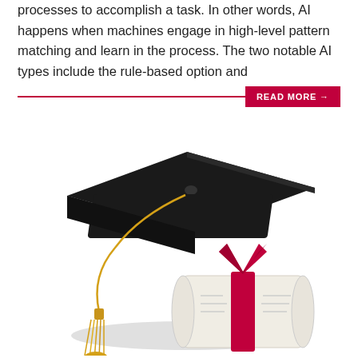processes to accomplish a task. In other words, AI happens when machines engage in high-level pattern matching and learn in the process. The two notable AI types include the rule-based option and
[Figure (photo): A black graduation mortarboard cap with a gold tassel, placed on top of a rolled diploma tied with a red ribbon, photographed on a white background.]